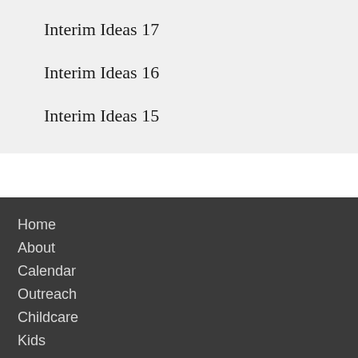Interim Ideas 17
Interim Ideas 16
Interim Ideas 15
Home
About
Calendar
Outreach
Childcare
Kids
Give
Live Streams
Location